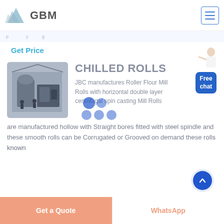GBM
Get Price
[Figure (photo): Industrial machinery / mill equipment inside a factory building]
CHILLED ROLLS
JBC manufactures Roller Flour Mill Rolls with horizontal double layer centrifugal spin casting Mill Rolls are manufactured hollow with Straight bores fitted with steel spindle and these smooth rolls can be Corrugated or Grooved on demand these rolls known
Get a Quote
WhatsApp